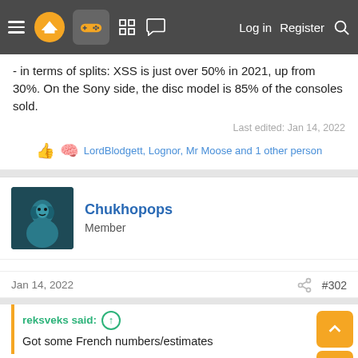Navigation bar with menu, logo, controller icon, grid, chat, Log in, Register, Search
- in terms of splits: XSS is just over 50% in 2021, up from 30%. On the Sony side, the disc model is 85% of the consoles sold.
Last edited: Jan 14, 2022
LordBlodgett, Lognor, Mr Moose and 1 other person
[Figure (photo): Avatar of user Chukhopops - dark teal character image]
Chukhopops
Member
Jan 14, 2022
#302
reksveks said:
Got some French numbers/estimates
[Figure (screenshot): Link preview thumbnail with French flag colors]
Ventes de consoles en France en 2021 – L...
Les chiffres de ventes de consoles en France en 2021,